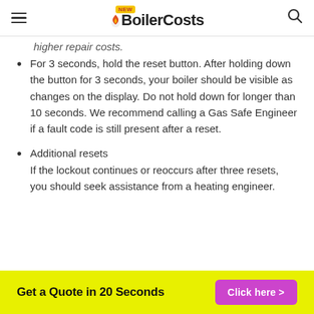New BoilerCosts
higher repair costs.
For 3 seconds, hold the reset button. After holding down the button for 3 seconds, your boiler should be visible as changes on the display. Do not hold down for longer than 10 seconds. We recommend calling a Gas Safe Engineer if a fault code is still present after a reset.
Additional resets
If the lockout continues or reoccurs after three resets, you should seek assistance from a heating engineer.
Get a Quote in 20 Seconds  Click here >